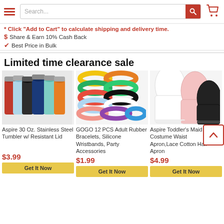[Figure (screenshot): Website header with hamburger menu, search bar, and cart icon]
* Click "Add to Cart" to calculate shipping and delivery time.
$ Share & Earn 10% Cash Back
Best Price in Bulk
Limited time clearance sale
[Figure (photo): Aspire 30 Oz. Stainless Steel Tumbler w/ Resistant Lid - colorful tumblers]
Aspire 30 Oz. Stainless Steel Tumbler w/ Resistant Lid
$3.99
[Figure (photo): GOGO 12 PCS Adult Rubber Bracelets, Silicone Wristbands, Party Accessories - colorful wristbands]
GOGO 12 PCS Adult Rubber Bracelets, Silicone Wristbands, Party Accessories
$1.99
[Figure (photo): Aspire Toddler's Maid Costume Waist Apron,Lace Cotton Half Apron - colorful aprons]
Aspire Toddler's Maid Costume Waist Apron,Lace Cotton Half Apron
$4.99